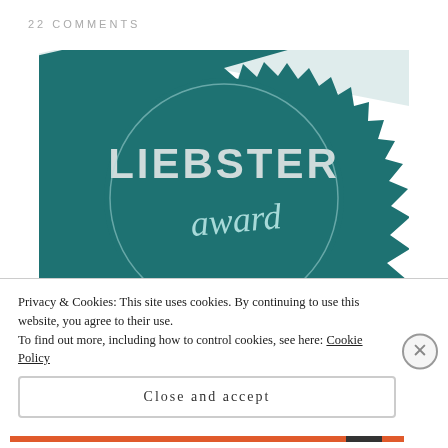22 COMMENTS
[Figure (illustration): Liebster Award badge — a teal/dark cyan sunburst-edged circular seal with text 'LIEBSTER award' in large letters, and a light blue ribbon banner below reading 'discover new blogs!']
Privacy & Cookies: This site uses cookies. By continuing to use this website, you agree to their use.
To find out more, including how to control cookies, see here: Cookie Policy
Close and accept